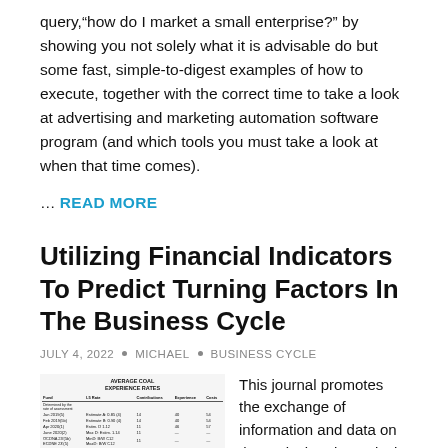query,“how do I market a small enterprise?” by showing you not solely what it is advisable do but some fast, simple-to-digest examples of how to execute, together with the correct time to take a look at advertising and marketing automation software program (and which tools you must take a look at when that time comes).
… READ MORE
Utilizing Financial Indicators To Predict Turning Factors In The Business Cycle
JULY 4, 2022 • MICHAEL • BUSINESS CYCLE
[Figure (table-as-image): Small thumbnail image of a financial data table showing business cycle indicators]
This journal promotes the exchange of information and data on theoretical and practical features of business